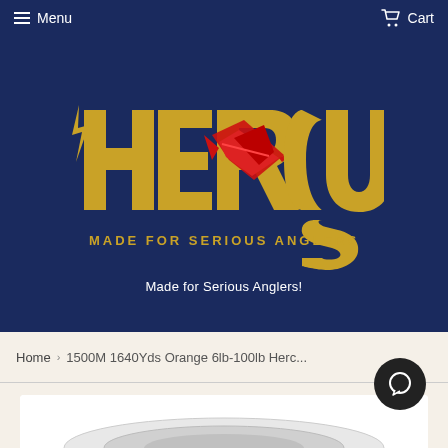Menu  Cart
[Figure (logo): Hercules fishing brand logo with gold stylized text 'HERCULES' and a red marlin fish, subtitle 'MADE FOR SERIOUS ANGLERS' on dark navy background]
Made for Serious Anglers!
Home › 1500M 1640Yds Orange 6lb-100lb Herc...
[Figure (photo): Product image of fishing line spool, partially visible at bottom of page]